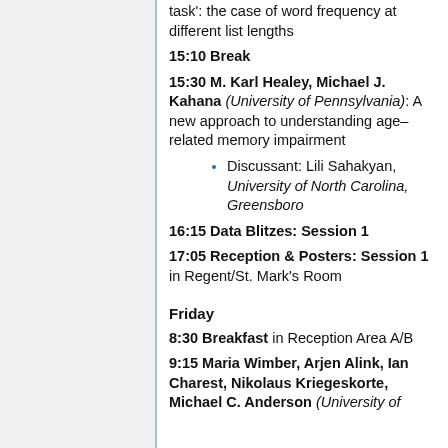task': the case of word frequency at different list lengths
15:10 Break
15:30 M. Karl Healey, Michael J. Kahana (University of Pennsylvania): A new approach to understanding age-related memory impairment
Discussant: Lili Sahakyan, University of North Carolina, Greensboro
16:15 Data Blitzes: Session 1
17:05 Reception & Posters: Session 1 in Regent/St. Mark's Room
Friday
8:30 Breakfast in Reception Area A/B
9:15 Maria Wimber, Arjen Alink, Ian Charest, Nikolaus Kriegeskorte, Michael C. Anderson (University of